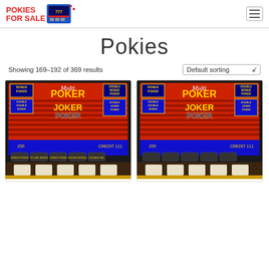Pokies For Sale (logo with hamburger menu)
Pokies
Showing 169–192 of 369 results
Default sorting
[Figure (photo): Photo of a pokie/slot machine showing Multi Poker screen with Bonus Poker, Double Bonus Poker, Joker Poker, Double Double Bonus Poker, Double Joker Poker options on blue background]
[Figure (photo): Photo of a second identical pokie/slot machine showing Multi Poker screen with same game options on blue background]